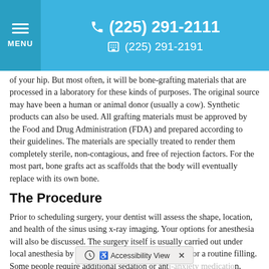MENU  ☎ (225) 291-2111  🖷 (225) 291-2191
of your hip. But most often, it will be bone-grafting materials that are processed in a laboratory for these kinds of purposes. The original source may have been a human or animal donor (usually a cow). Synthetic products can also be used. All grafting materials must be approved by the Food and Drug Administration (FDA) and prepared according to their guidelines. The materials are specially treated to render them completely sterile, non-contagious, and free of rejection factors. For the most part, bone grafts act as scaffolds that the body will eventually replace with its own bone.
The Procedure
Prior to scheduling surgery, your dentist will assess the shape, location, and health of the sinus using x-ray imaging. Your options for anesthesia will also be discussed. The surgery itself is usually carried out under local anesthesia by numbing the area, just as is done for a routine filling. Some people require additional sedation or anti-anxiety medication, which can either be administered orally, through intravenous, intravenously